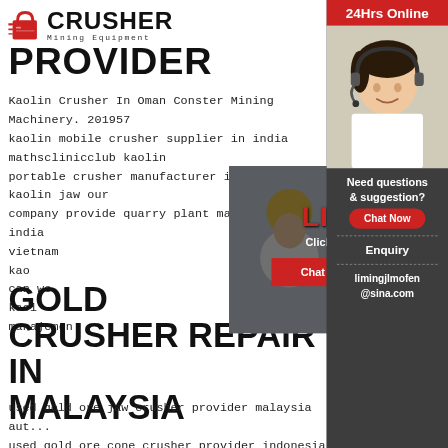[Figure (logo): Crusher Mining Equipment logo with red shopping bag icon and bold CRUSHER text]
PROVIDER
Kaolin Crusher In Oman Conster Mining Machinery. 201957 kaolin mobile crusher supplier in india mathsclinicclub kaolin portable crusher manufacturer in malaysia kaolin jaw our company provide quarry plant machine for india vietnam kao... can we kaol... manajemen...
[Figure (screenshot): Live Chat popup overlay with workers in yellow hard hats, LIVE CHAT text in red, Click for a Free Consultation, Chat now and Chat later buttons]
GOLD CRUSHER REPAIR IN MALAYSIA
used gold ore jaw crusher provider malaysia aut... used gold ore cone crusher provider indonesia k... crusher for sale in malaysia Listings 1 55 of ...
KAOLIN IMPACT CRUSHER
[Figure (infographic): Right sidebar: 24Hrs Online red bar, customer service agent photo, Need questions & suggestion?, Chat Now button, Enquiry, limingjlmofen@sina.com]